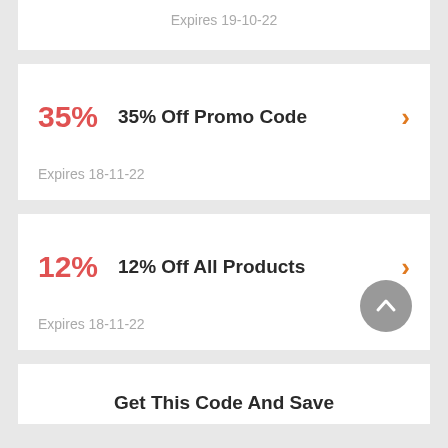Expires 19-10-22
35% Off Promo Code
Expires 18-11-22
12% Off All Products
Expires 18-11-22
Get This Code And Save